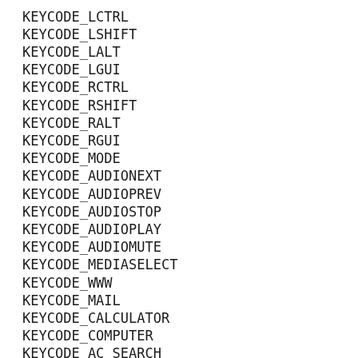KEYCODE_LCTRL
KEYCODE_LSHIFT
KEYCODE_LALT
KEYCODE_LGUI
KEYCODE_RCTRL
KEYCODE_RSHIFT
KEYCODE_RALT
KEYCODE_RGUI
KEYCODE_MODE
KEYCODE_AUDIONEXT
KEYCODE_AUDIOPREV
KEYCODE_AUDIOSTOP
KEYCODE_AUDIOPLAY
KEYCODE_AUDIOMUTE
KEYCODE_MEDIASELECT
KEYCODE_WWW
KEYCODE_MAIL
KEYCODE_CALCULATOR
KEYCODE_COMPUTER
KEYCODE_AC_SEARCH